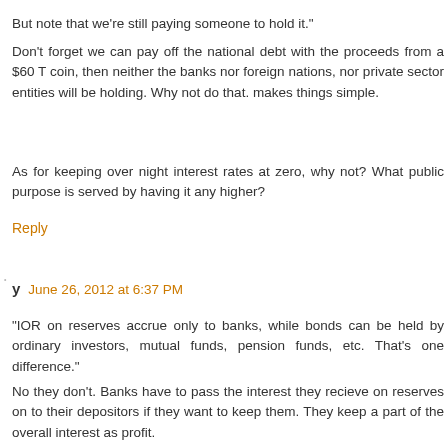But note that we're still paying someone to hold it."
Don't forget we can pay off the national debt with the proceeds from a $60 T coin, then neither the banks nor foreign nations, nor private sector entities will be holding. Why not do that. makes things simple.
As for keeping over night interest rates at zero, why not? What public purpose is served by having it any higher?
Reply
y  June 26, 2012 at 6:37 PM
"IOR on reserves accrue only to banks, while bonds can be held by ordinary investors, mutual funds, pension funds, etc. That's one difference."
No they don't. Banks have to pass the interest they recieve on reserves on to their depositors if they want to keep them. They keep a part of the overall interest as profit.
If you buy a bond 'direct' from the goverment, you still go